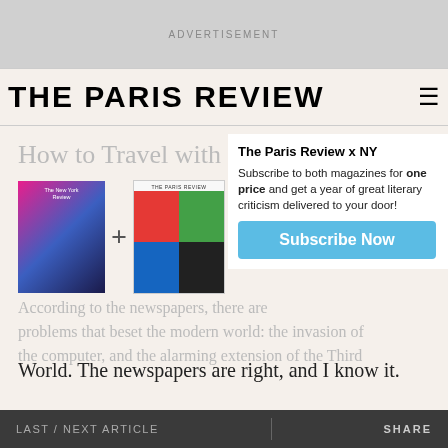ADVERTISEMENT
THE PARIS REVIEW
How to Travel with a
[Figure (infographic): Subscription offer popup: The Paris Review x NY - Subscribe to both magazines for one price and get a year of great literary criticism delivered to your door! Subscribe Now button. Shows New Yorker magazine cover and Paris Review cover side by side with a plus sign.]
According to the newspapers, there are problems that beset the modern world: the invasion of the computer, and the alarming extension of the Third World. The newspapers are right, and I know it.
LAST / NEXT ARTICLE    SHARE